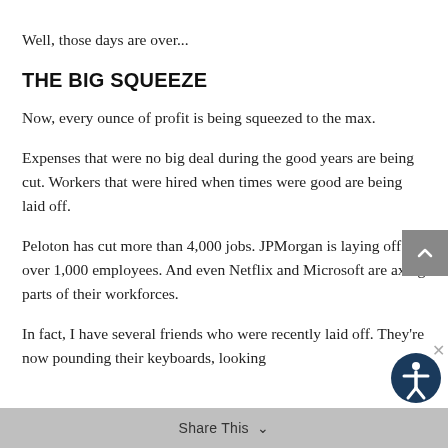Well, those days are over...
THE BIG SQUEEZE
Now, every ounce of profit is being squeezed to the max.
Expenses that were no big deal during the good years are being cut. Workers that were hired when times were good are being laid off.
Peloton has cut more than 4,000 jobs. JPMorgan is laying off over 1,000 employees. And even Netflix and Microsoft are axing parts of their workforces.
In fact, I have several friends who were recently laid off. They're now pounding their keyboards, looking
Share This